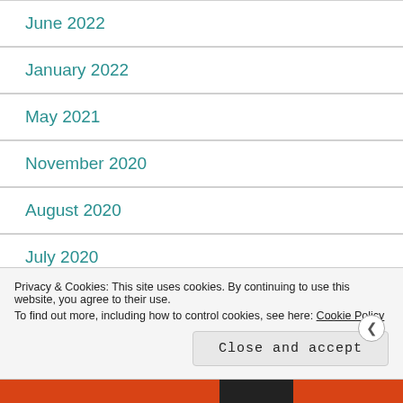June 2022
January 2022
May 2021
November 2020
August 2020
July 2020
April 2020
Privacy & Cookies: This site uses cookies. By continuing to use this website, you agree to their use.
To find out more, including how to control cookies, see here: Cookie Policy
Close and accept